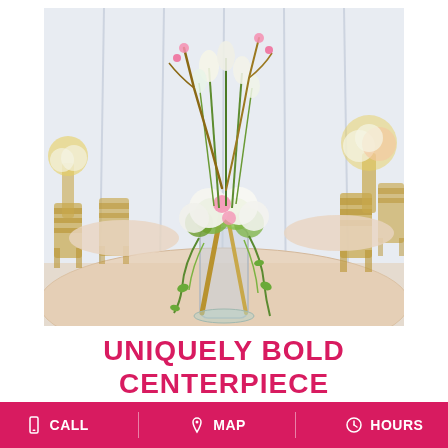[Figure (photo): A tall glass vase centerpiece with white tulips, white hydrangeas, green flowers, and trailing greenery, wrapped with gold branches, standing on a round table with a floral tablecloth in an elegant banquet hall with gold chiavari chairs and white draping in the background.]
UNIQUELY BOLD CENTERPIECE
CALL  MAP  HOURS